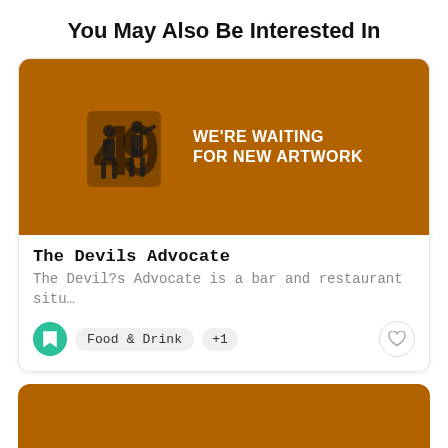You May Also Be Interested In
[Figure (illustration): Card image placeholder with silhouette figures and text 'WE'RE WAITING FOR NEW ARTWORK' on brown/amber background]
The Devils Advocate
The Devil?s Advocate is a bar and restaurant situ…
Food & Drink +1
[Figure (illustration): Second card image with amber/brown background, partially visible at bottom of page]